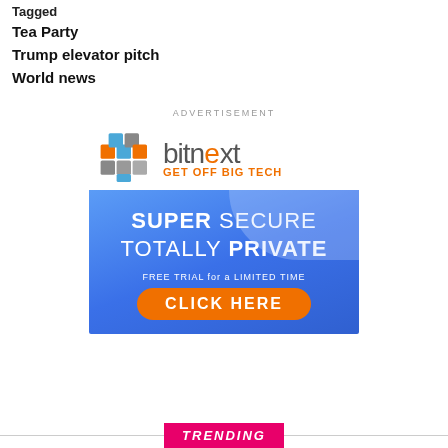Tagged
Tea Party
Trump elevator pitch
World news
ADVERTISEMENT
[Figure (illustration): Bitnext advertisement banner. Top white section with 3D cube logo and 'bitnext GET OFF BIG TECH' text. Bottom blue section with 'SUPER SECURE TOTALLY PRIVATE FREE TRIAL for a LIMITED TIME CLICK HERE' button.]
TRENDING